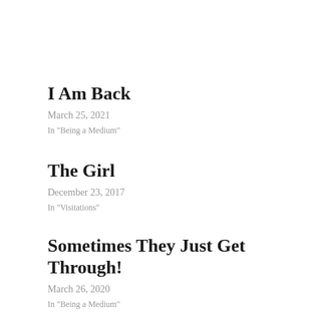I Am Back
March 25, 2021
In "Being a Medium"
The Girl
December 23, 2017
In "Visitations"
Sometimes They Just Get Through!
March 26, 2020
In "Being a Medium"